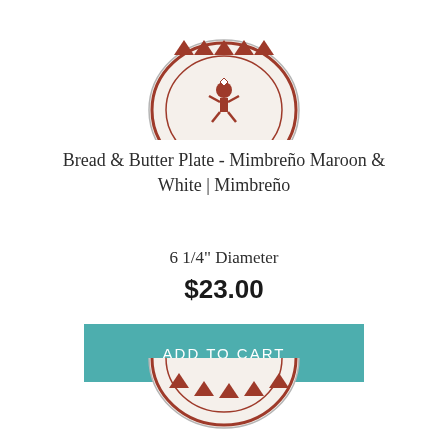[Figure (photo): Top portion of a decorative ceramic bread and butter plate with maroon and white Mimbreño pattern, showing the top half of the plate cropped at the top of the page.]
Bread & Butter Plate - Mimbreño Maroon & White | Mimbreño
6 1/4" Diameter
$23.00
ADD TO CART
[Figure (photo): Bottom portion of a decorative ceramic plate with maroon and white Mimbreño pattern, showing the top portion of the plate cropped at the bottom of the page.]